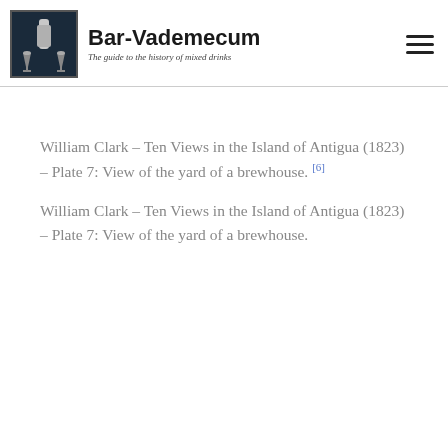Bar-Vademecum – The guide to the history of mixed drinks
William Clark – Ten Views in the Island of Antigua (1823) – Plate 7: View of the yard of a brewhouse. [6]
William Clark – Ten Views in the Island of Antigua (1823) – Plate 7: View of the yard of a brewhouse.